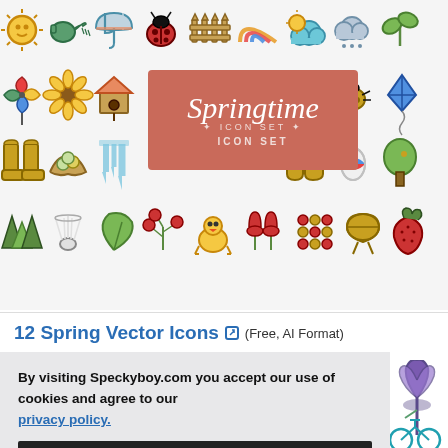[Figure (illustration): Springtime icon set preview grid showing colorful spring-themed icons (sun, watering can, umbrella, ladybug, fence, rainbow, cloud, plant, pinwheel, sunflower, birdhouse, acorn, beetle, kite, boots, nest, icicle, gloves, easter egg, tree, pine trees, shuttlecock, leaf, berries, chick, tulips, skewers, grill, strawberry) arranged in rows with a coral/salmon colored badge in the center reading 'Springtime ICON SET']
12 Spring Vector Icons ↗ (Free, AI Format)
By visiting Speckyboy.com you accept our use of cookies and agree to our privacy policy.
OK!
[Figure (illustration): Partial view of spring vector icons including a tulip, bicycle, and other spring icons visible at the bottom of the page]